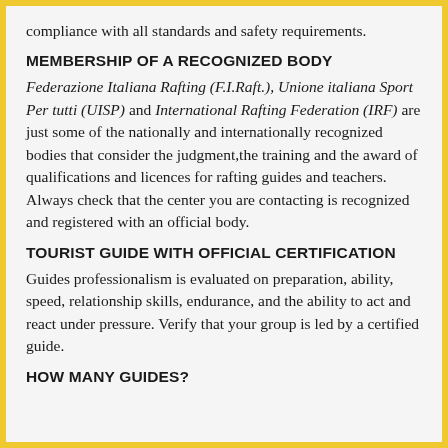compliance with all standards and safety requirements.
MEMBERSHIP OF A RECOGNIZED BODY
Federazione Italiana Rafting (F.I.Raft.), Unione italiana Sport Per tutti (UISP) and International Rafting Federation (IRF) are just some of the nationally and internationally recognized bodies that consider the judgment,the training and the award of qualifications and licences for rafting guides and teachers. Always check that the center you are contacting is recognized and registered with an official body.
TOURIST GUIDE WITH OFFICIAL CERTIFICATION
Guides professionalism is evaluated on preparation, ability, speed, relationship skills, endurance, and the ability to act and react under pressure. Verify that your group is led by a certified guide.
HOW MANY GUIDES?